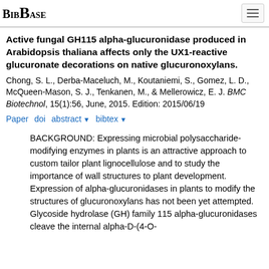BibBase
Active fungal GH115 alpha-glucuronidase produced in Arabidopsis thaliana affects only the UX1-reactive glucuronate decorations on native glucuronoxylans.
Chong, S. L., Derba-Maceluch, M., Koutaniemi, S., Gomez, L. D., McQueen-Mason, S. J., Tenkanen, M., & Mellerowicz, E. J. BMC Biotechnol, 15(1):56, June, 2015. Edition: 2015/06/19
Paper  doi  abstract ▼  bibtex ▼
BACKGROUND: Expressing microbial polysaccharide-modifying enzymes in plants is an attractive approach to custom tailor plant lignocellulose and to study the importance of wall structures to plant development. Expression of alpha-glucuronidases in plants to modify the structures of glucuronoxylans has not been yet attempted. Glycoside hydrolase (GH) family 115 alpha-glucuronidases cleave the internal alpha-D-(4-O-